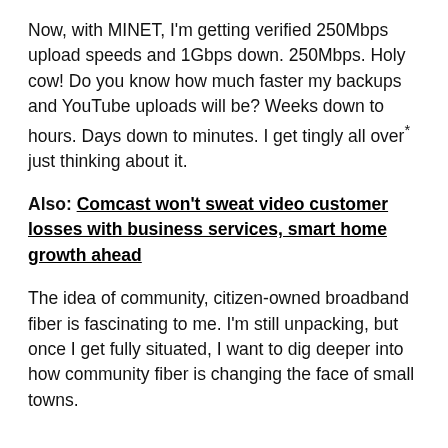Now, with MINET, I'm getting verified 250Mbps upload speeds and 1Gbps down. 250Mbps. Holy cow! Do you know how much faster my backups and YouTube uploads will be? Weeks down to hours. Days down to minutes. I get tingly all over* just thinking about it.
Also: Comcast won't sweat video customer losses with business services, smart home growth ahead
The idea of community, citizen-owned broadband fiber is fascinating to me. I'm still unpacking, but once I get fully situated, I want to dig deeper into how community fiber is changing the face of small towns.